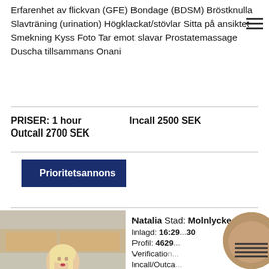Erfarenhet av flickvan (GFE) Bondage (BDSM) Bröstknulla Slavträning (urination) Högklackat/stövlar Sitta på ansiktet Smekning Kyss Foto Tar emot slavar Prostatemassage Duscha tillsammans Onani
PRISER: 1 hour    Incall 2500 SEK
Outcall 2700 SEK
Prioritetsannons
[Figure (photo): Blonde woman taking a mirror selfie in a kitchen, wearing a black outfit]
Natalia Stad: Molnlycke
Inlagd: 16:29...30
Profil: 4629...
Verification...
Incall/Outca...
Info